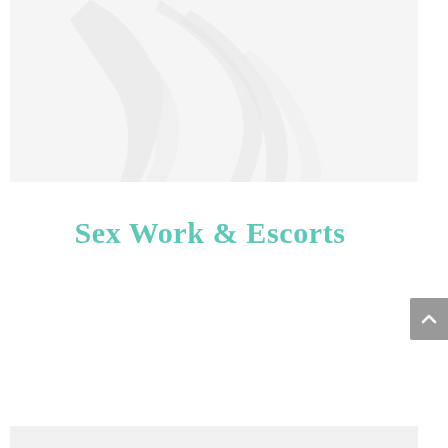[Figure (photo): A faint, washed-out silhouette image of a figure on a light gray/white background, appearing very pale and abstract.]
Sex Work & Escorts
[Figure (other): A gray scroll-to-top button with an upward-pointing chevron arrow on the right side of the page.]
[Figure (other): A light gray bottom strip/banner at the very bottom of the page.]